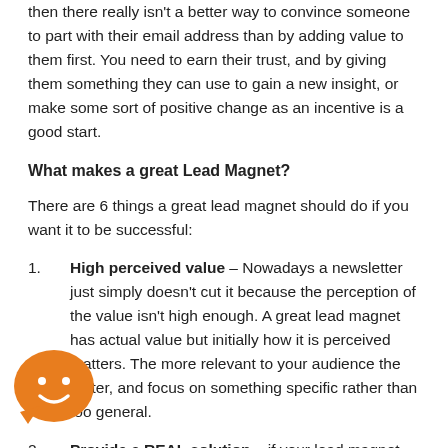then there really isn't a better way to convince someone to part with their email address than by adding value to them first. You need to earn their trust, and by giving them something they can use to gain a new insight, or make some sort of positive change as an incentive is a good start.
What makes a great Lead Magnet?
There are 6 things a great lead magnet should do if you want it to be successful:
High perceived value – Nowadays a newsletter just simply doesn't cut it because the perception of the value isn't high enough. A great lead magnet has actual value but initially how it is perceived matters. The more relevant to your audience the better, and focus on something specific rather than too general.
Provide a REAL solution – if your lead magnet doesn't real problem for your audience… it won't work.
Instant availability – Make it something that can be delivered right away. For example, an instant notification...
[Figure (illustration): Orange circular chat bubble icon with a white smiley face emoji inside, positioned at bottom left of the page.]